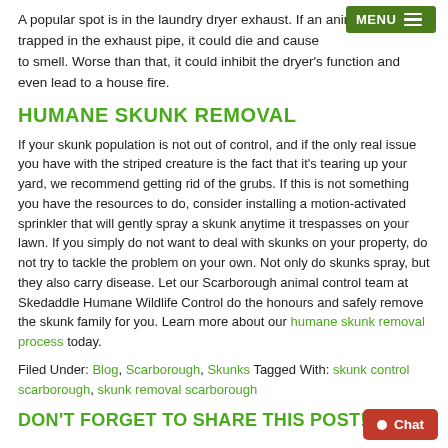A popular spot is in the laundry dryer exhaust. If an animal gets trapped in the exhaust pipe, it could die and cause [MENU] to smell. Worse than that, it could inhibit the dryer's function and even lead to a house fire.
HUMANE SKUNK REMOVAL
If your skunk population is not out of control, and if the only real issue you have with the striped creature is the fact that it's tearing up your yard, we recommend getting rid of the grubs. If this is not something you have the resources to do, consider installing a motion-activated sprinkler that will gently spray a skunk anytime it trespasses on your lawn. If you simply do not want to deal with skunks on your property, do not try to tackle the problem on your own. Not only do skunks spray, but they also carry disease. Let our Scarborough animal control team at Skedaddle Humane Wildlife Control do the honours and safely remove the skunk family for you. Learn more about our humane skunk removal process today.
Filed Under: Blog, Scarborough, Skunks Tagged With: skunk control scarborough, skunk removal scarborough
DON'T FORGET TO SHARE THIS POST!